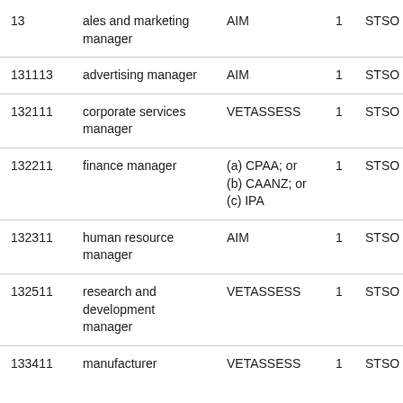| Code | Occupation | Assessing Authority | Priority | List |
| --- | --- | --- | --- | --- |
| 13... | sales and marketing manager | AIM | 1 | STSOL |
| 131113 | advertising manager | AIM | 1 | STSOL |
| 132111 | corporate services manager | VETASSESS | 1 | STSOL |
| 132211 | finance manager | (a) CPAA; or (b) CAANZ; or (c) IPA | 1 | STSOL |
| 132311 | human resource manager | AIM | 1 | STSOL |
| 132511 | research and development manager | VETASSESS | 1 | STSOL |
| 133411 | manufacturer | VETASSESS | 1 | STSOL |